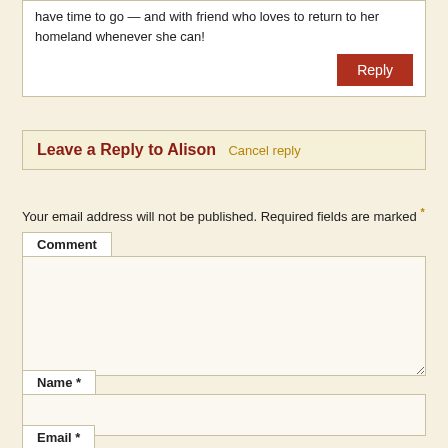have time to go — and with friend who loves to return to her homeland whenever she can!
Reply
Leave a Reply to Alison Cancel reply
Your email address will not be published. Required fields are marked *
Comment
Name *
Email *